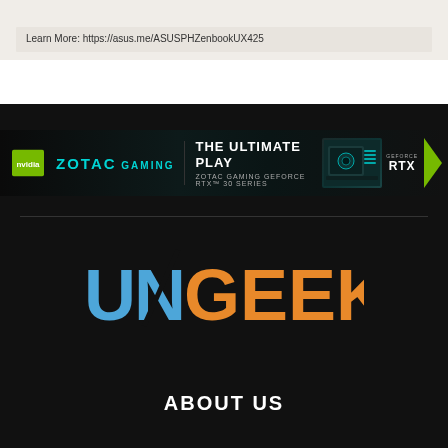Learn More: https://asus.me/ASUSPHZenbookUX425
[Figure (screenshot): ZOTAC GAMING advertisement banner — THE ULTIMATE PLAY, ZOTAC GAMING GEFORCE RTX 30 SERIES, with NVIDIA logo, cyan ZOTAC GAMING text, GPU image, and RTX badge with green arrow]
[Figure (logo): UNGEEK logo — UN in blue, GEEK in orange, with diagonal slash through N]
ABOUT US